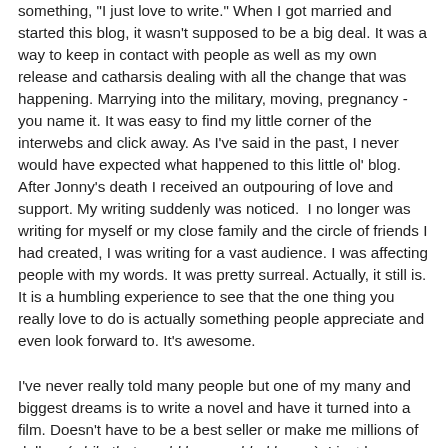something, "I just love to write." When I got married and started this blog, it wasn't supposed to be a big deal. It was a way to keep in contact with people as well as my own release and catharsis dealing with all the change that was happening. Marrying into the military, moving, pregnancy - you name it. It was easy to find my little corner of the interwebs and click away. As I've said in the past, I never would have expected what happened to this little ol' blog. After Jonny's death I received an outpouring of love and support. My writing suddenly was noticed.  I no longer was writing for myself or my close family and the circle of friends I had created, I was writing for a vast audience. I was affecting people with my words. It was pretty surreal. Actually, it still is. It is a humbling experience to see that the one thing you really love to do is actually something people appreciate and even look forward to. It's awesome.
I've never really told many people but one of my many and biggest dreams is to write a novel and have it turned into a film. Doesn't have to be a best seller or make me millions of dollars (while that would be an added bonus), I just have always thought it would be so amazing to see someone's visual interpretation of writing I had created.